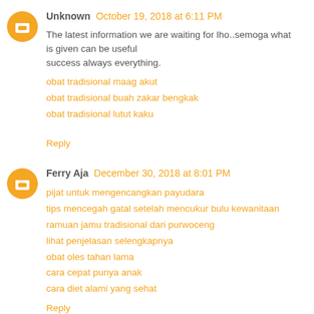Unknown  October 19, 2018 at 6:11 PM
The latest information we are waiting for lho..semoga what is given can be useful
success always everything.
obat tradisional maag akut
obat tradisional buah zakar bengkak
obat tradisional lutut kaku
Reply
Ferry Aja  December 30, 2018 at 8:01 PM
pijat untuk mengencangkan payudara
tips mencegah gatal setelah mencukur bulu kewanitaan
ramuan jamu tradisional dari purwoceng
lihat penjelasan selengkapnya
obat oles tahan lama
cara cepat punya anak
cara diet alami yang sehat
Reply